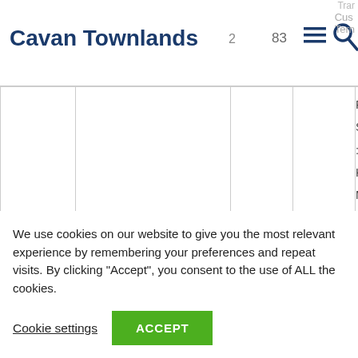Cavan Townlands 2  83  ≡  Cus  Tern
|  | Townland | Col3 | Col4 | Names (partial) |
| --- | --- | --- | --- | --- |
|  |  |  |  | Reily
Smi
: Ma
Keel
Man |
|  | Lisnananagh | 5 | 83 | Cus
King
; Dul |
We use cookies on our website to give you the most relevant experience by remembering your preferences and repeat visits. By clicking “Accept”, you consent to the use of ALL the cookies.
Cookie settings  ACCEPT